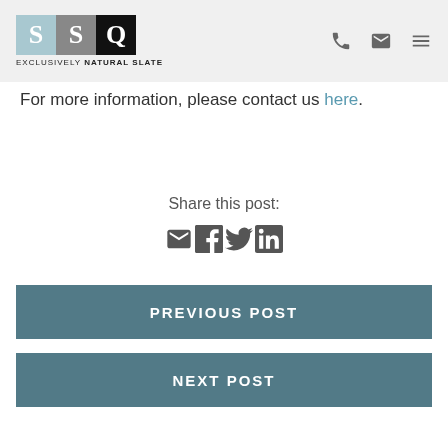[Figure (logo): SSQ logo with three colored squares (light blue S, gray S, black Q) and tagline EXCLUSIVELY NATURAL SLATE, with phone, email, and menu icons in header]
For more information, please contact us here.
Share this post:
[Figure (infographic): Social sharing icons: email envelope, Facebook, Twitter, LinkedIn]
PREVIOUS POST
NEXT POST